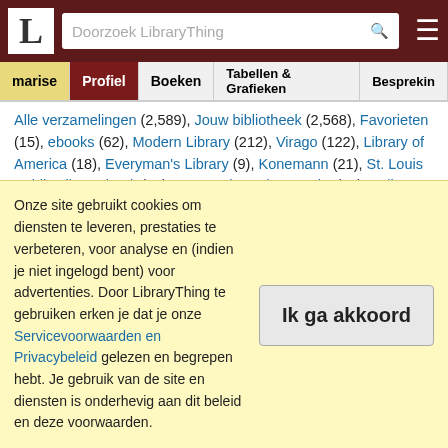[Figure (screenshot): LibraryThing website header with logo, search bar, and hamburger menu on dark red background]
marise | Profiel | Boeken | Tabellen & Grafieken | Besprekin
Alle verzamelingen (2,589), Jouw bibliotheek (2,568), Favorieten (15), ebooks (62), Modern Library (212), Virago (122), Library of America (18), Everyman's Library (9), Konemann (21), St. Louis Public Library book (19), New York Review Books (11), Folio Society (1), signed (17), first edition (132), N. L. R. bookshelf (4), Nick's (23)
Trefwoorden
fiction (1,375), children's literature (240), film (193), biography (120), memoir (103), poetry (92), short stories (88), fiction (set)
Onze site gebruikt cookies om diensten te leveren, prestaties te verbeteren, voor analyse en (indien je niet ingelogd bent) voor advertenties. Door LibraryThing te gebruiken erken je dat je onze Servicevoorwaarden en Privacybeleid gelezen en begrepen hebt. Je gebruik van de site en diensten is onderhevig aan dit beleid en deze voorwaarden.